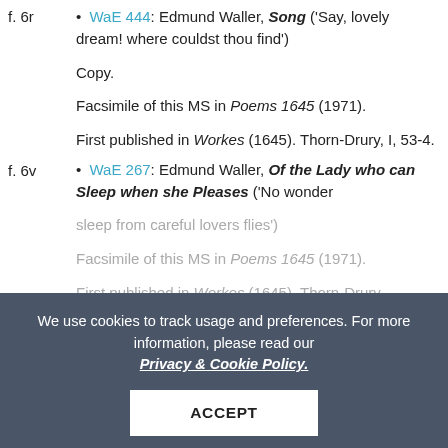f. 6r • WaE 444: Edmund Waller, Song ('Say, lovely dream! where couldst thou find')
Copy.
Facsimile of this MS in Poems 1645 (1971).
First published in Workes (1645). Thorn-Drury, I, 53-4.
f. 6v • WaE 267: Edmund Waller, Of the Lady who can Sleep when she Pleases ('No wonder sleep from careful lovers flies')
Facsimile of this MS in Poems 1645 (1971).
First published in Workes (1645). Thorn-Drury.
We use cookies to track usage and preferences. For more information, please read our Privacy & Cookie Policy.